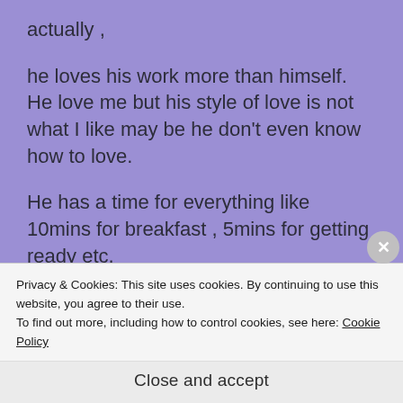actually ,
he loves his work more than himself. He love me but his style of love is not what I like may be he don't even know how to love.
He has a time for everything like 10mins for breakfast , 5mins for getting ready etc,
Privacy & Cookies: This site uses cookies. By continuing to use this website, you agree to their use.
To find out more, including how to control cookies, see here: Cookie Policy
Close and accept